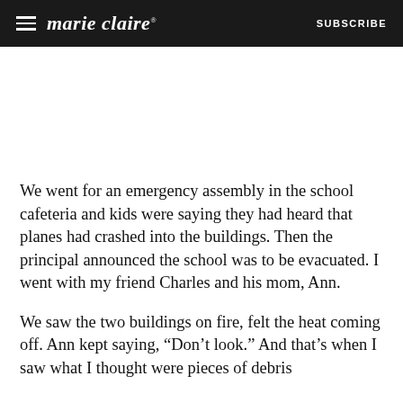marie claire | SUBSCRIBE
We went for an emergency assembly in the school cafeteria and kids were saying they had heard that planes had crashed into the buildings. Then the principal announced the school was to be evacuated. I went with my friend Charles and his mom, Ann.
We saw the two buildings on fire, felt the heat coming off. Ann kept saying, “Don’t look.” And that’s when I saw what I thought were pieces of debris